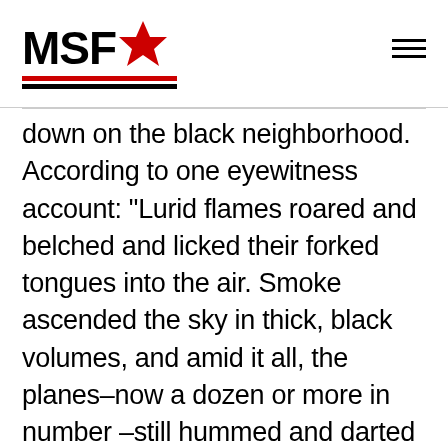MSF★
down on the black neighborhood. According to one eyewitness account: “Lurid flames roared and belched and licked their forked tongues into the air. Smoke ascended the sky in thick, black volumes, and amid it all, the planes–now a dozen or more in number –still hummed and darted here and there with the agility of natural birds of the air.” A handful of black fighters in Mount Zion Baptist Church were among the last